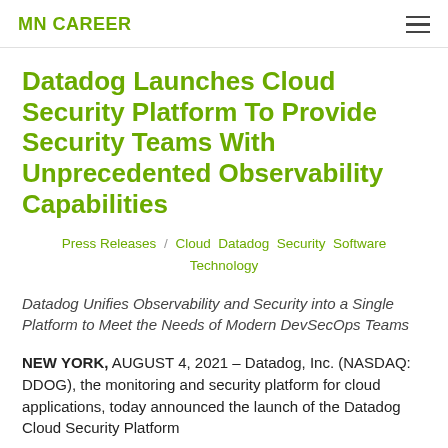MN CAREER
Datadog Launches Cloud Security Platform To Provide Security Teams With Unprecedented Observability Capabilities
Press Releases / Cloud Datadog Security Software Technology
Datadog Unifies Observability and Security into a Single Platform to Meet the Needs of Modern DevSecOps Teams
NEW YORK, AUGUST 4, 2021 – Datadog, Inc. (NASDAQ: DDOG), the monitoring and security platform for cloud applications, today announced the launch of the Datadog Cloud Security Platform